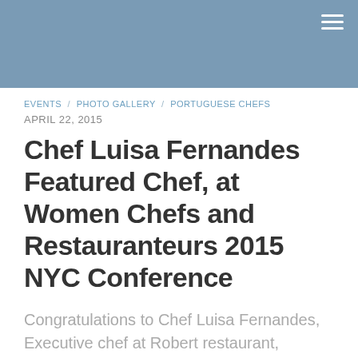[Figure (photo): Blue-toned header image with a hamburger menu icon in the top-right corner]
EVENTS / PHOTO GALLERY / PORTUGUESE CHEFS
APRIL 22, 2015
Chef Luisa Fernandes Featured Chef, at Women Chefs and Restauranteurs 2015 NYC Conference
Congratulations to Chef Luisa Fernandes, Executive chef at Robert restaurant, Museum of Modern Art, NYC. She was one of  featured women chefs preparing a multi-course dinner which featured the best of the best culinary…